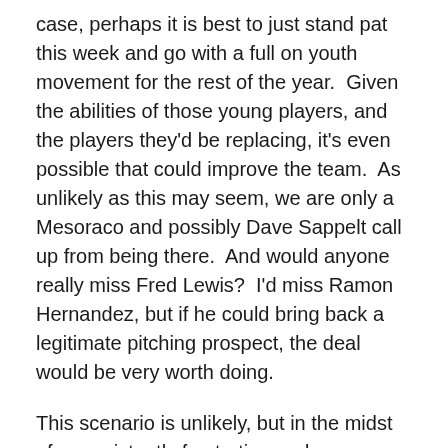case, perhaps it is best to just stand pat this week and go with a full on youth movement for the rest of the year.  Given the abilities of those young players, and the players they'd be replacing, it's even possible that could improve the team.  As unlikely as this may seem, we are only a Mesoraco and possibly Dave Sappelt call up from being there.  And would anyone really miss Fred Lewis?  I'd miss Ramon Hernandez, but if he could bring back a legitimate pitching prospect, the deal would be very worth doing.
This scenario is unlikely, but in the midst of a persistently frustrating and disappointing season, a youth movement might offer enough excitement to keep me interested well into football season.
Follow the jump for the games.